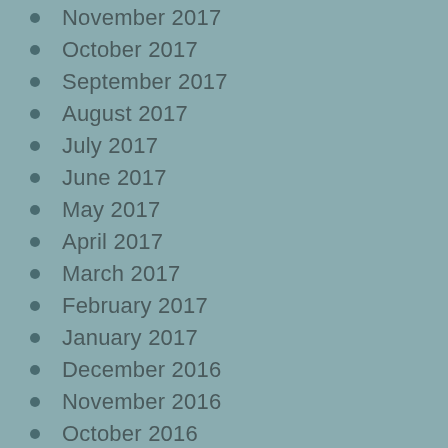November 2017
October 2017
September 2017
August 2017
July 2017
June 2017
May 2017
April 2017
March 2017
February 2017
January 2017
December 2016
November 2016
October 2016
August 2016
July 2016
June 2016